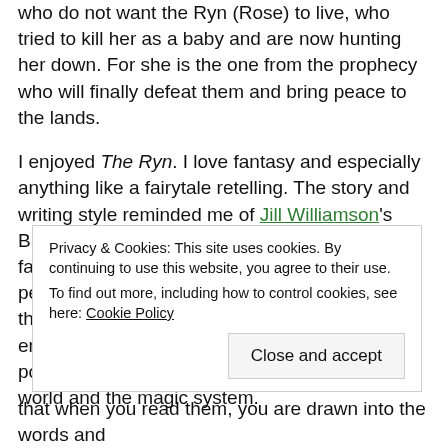who do not want the Ryn (Rose) to live, who tried to kill her as a baby and are now hunting her down. For she is the one from the prophecy who will finally defeat them and bring peace to the lands.
I enjoyed The Ryn. I love fantasy and especially anything like a fairytale retelling. The story and writing style reminded me of Jill Williamson's Blood of King Trilogy and Melanie Dickerson's fairytale novels. You have the usual young person learning she is more than she thought, that she is the only one who can stop the encroaching evil, and possesses an amazing power. But what makes The Ryn unique is the world and the magic system.
Privacy & Cookies: This site uses cookies. By continuing to use this website, you agree to their use. To find out more, including how to control cookies, see here: Cookie Policy [Close and accept button]
that when you read them, you are drawn into the words and